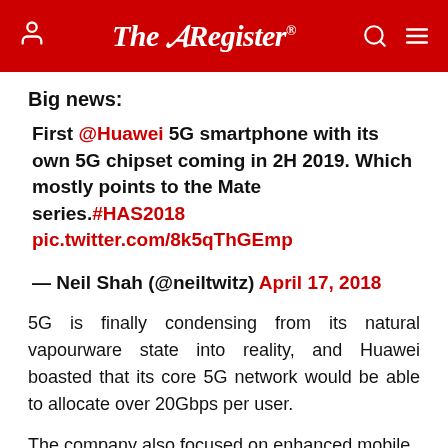The Register
Big news:
First @Huawei 5G smartphone with its own 5G chipset coming in 2H 2019. Which mostly points to the Mate series.#HAS2018 pic.twitter.com/8k5qThGEmp
— Neil Shah (@neiltwitz) April 17, 2018
5G is finally condensing from its natural vapourware state into reality, and Huawei boasted that its core 5G network would be able to allocate over 20Gbps per user.
The company also focused on enhanced mobile